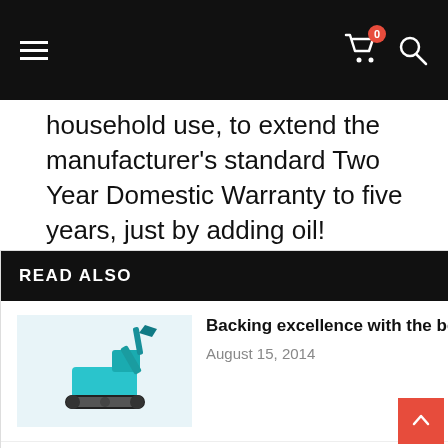Navigation bar with hamburger menu, cart icon with badge 0, and search icon
household use, to extend the manufacturer's standard Two Year Domestic Warranty to five years, just by adding oil!
READ ALSO
[Figure (photo): Thumbnail of blue excavator machine]
Backing excellence with the best warranty
August 15, 2014
[Figure (photo): Thumbnail of Keperra Granite landscape and quarry products]
Keperra Granite Landscape & Quarry Products.
July 14, 2014
[Figure (photo): Thumbnail of yellow Yanmar excavator]
YANMAR'S NEWLY UPGRADED VIO80-1 EXCAVATOR
January 6, 2014
omestic Warranty to a total
Husqvarna oil with your new purchase.
genuine Husqvarna oil original product
y of the product registration, and the extended warra